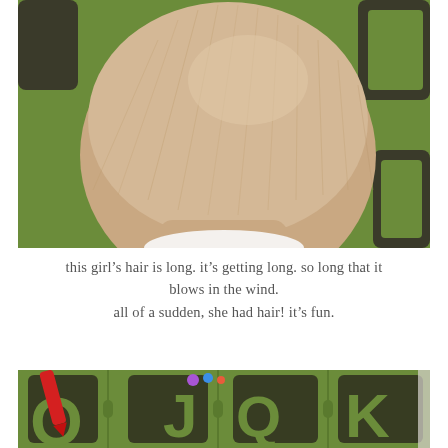[Figure (photo): Close-up top/back view of a baby's head with fine light brown/blonde hair, sitting on a green and dark foam letter play mat]
this girl's hair is long. it's getting long. so long that it blows in the wind.
all of a sudden, she had hair! it's fun.
[Figure (photo): Green and dark brown foam puzzle mat with large alphabet letters (J, K visible), a red crayon and small colorful toy figures on top]